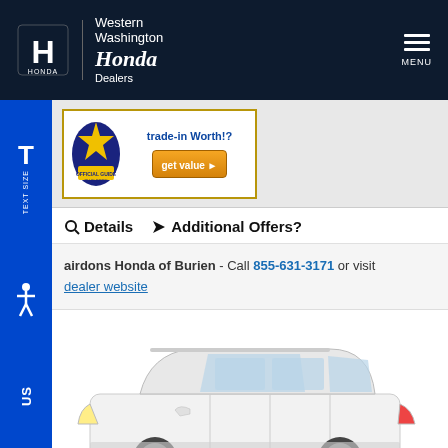Western Washington Honda Dealers
[Figure (logo): Official Blue Book badge with 'trade-in Worth?' text and 'get value' button]
Details   Additional Offers?
airdons Honda of Burien - Call 855-631-3171 or visit dealer website
[Figure (photo): White Honda SUV (Passport or Pilot) shown from driver-side profile angle]